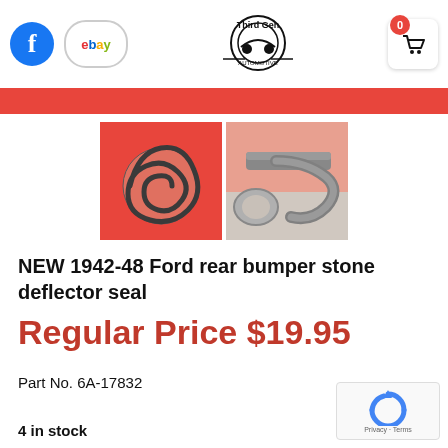Third Gen Automotive - navigation header with Facebook, eBay links, logo, and cart
[Figure (photo): Two product photos of a rubber bumper stone deflector seal on a red background]
NEW 1942-48 Ford rear bumper stone deflector seal
Regular Price $19.95
Part No. 6A-17832
4 in stock